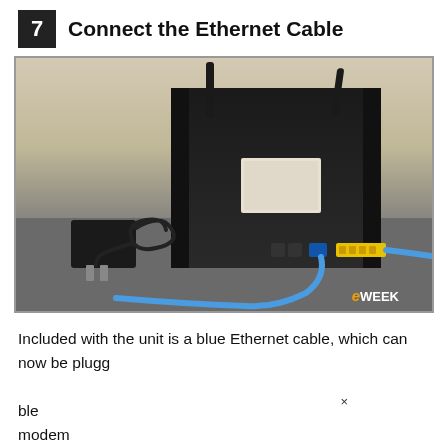7  Connect the Ethernet Cable
[Figure (photo): Back of an ASUS wireless router showing two antennas, power adapter with blue cable coiled, blue Ethernet cable connected to port, and yellow LAN ports. Photo watermarked with eWEEK logo in lower right.]
Included with the unit is a blue Ethernet cable, which can now be plugged into the modem and the cable modem